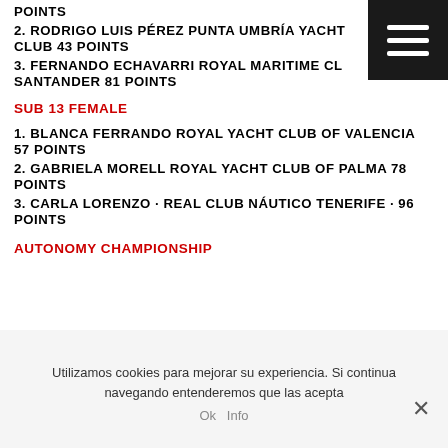POINTS
2. RODRIGO LUIS PÉREZ PUNTA UMBRÍA YACHT CLUB 43 POINTS
3. FERNANDO ECHAVARRI ROYAL MARITIME CLUB OF SANTANDER 81 POINTS
SUB 13 FEMALE
1. BLANCA FERRANDO ROYAL YACHT CLUB OF VALENCIA 57 POINTS
2. GABRIELA MORELL ROYAL YACHT CLUB OF PALMA 78 POINTS
3. CARLA LORENZO · REAL CLUB NÁUTICO TENERIFE · 96 POINTS
AUTONOMY CHAMPIONSHIP
Utilizamos cookies para mejorar su experiencia. Si continua navegando entenderemos que las acepta
Ok   Info